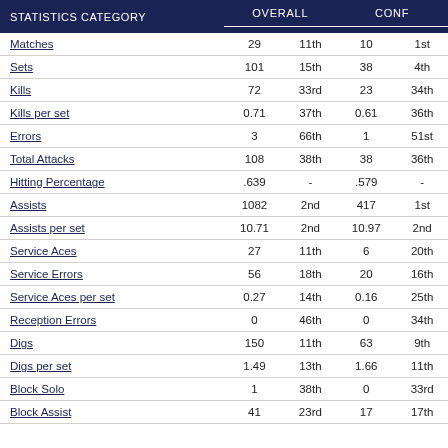| STATISTICS CATEGORY | OVERALL |  | CONF |  |
| --- | --- | --- | --- | --- |
| Matches | 29 | 11th | 10 | 1st |
| Sets | 101 | 15th | 38 | 4th |
| Kills | 72 | 33rd | 23 | 34th |
| Kills per set | 0.71 | 37th | 0.61 | 36th |
| Errors | 3 | 66th | 1 | 51st |
| Total Attacks | 108 | 38th | 38 | 36th |
| Hitting Percentage | .639 | - | .579 | - |
| Assists | 1082 | 2nd | 417 | 1st |
| Assists per set | 10.71 | 2nd | 10.97 | 2nd |
| Service Aces | 27 | 11th | 6 | 20th |
| Service Errors | 56 | 18th | 20 | 16th |
| Service Aces per set | 0.27 | 14th | 0.16 | 25th |
| Reception Errors | 0 | 46th | 0 | 34th |
| Digs | 150 | 11th | 63 | 9th |
| Digs per set | 1.49 | 13th | 1.66 | 11th |
| Block Solo | 1 | 38th | 0 | 33rd |
| Block Assist | 41 | 23rd | 17 | 17th |